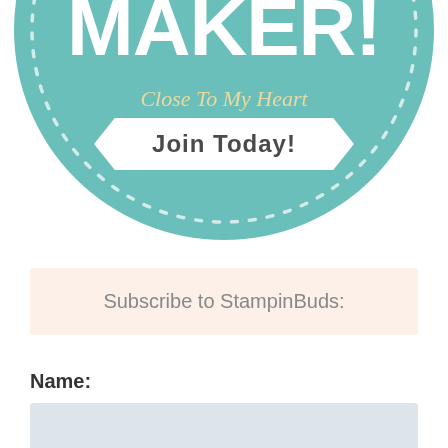[Figure (illustration): Teal circular badge with white dotted ring border. Large white bold text reads 'BECOME A MAKER!' in the center. Below that, italic gold/yellow text reads 'Close To My Heart'. A white banner ribbon below contains bold dark text 'JOIN TODAY!'.]
Subscribe to StampinBuds:
Name: